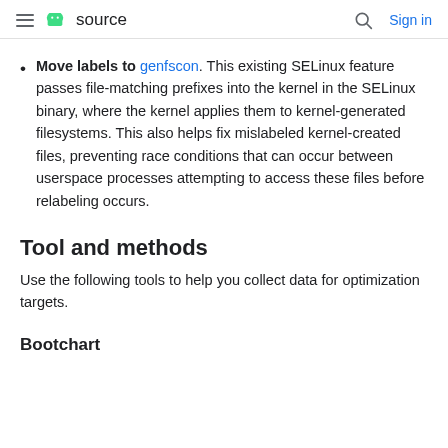≡  source   🔍  Sign in
Move labels to genfscon. This existing SELinux feature passes file-matching prefixes into the kernel in the SELinux binary, where the kernel applies them to kernel-generated filesystems. This also helps fix mislabeled kernel-created files, preventing race conditions that can occur between userspace processes attempting to access these files before relabeling occurs.
Tool and methods
Use the following tools to help you collect data for optimization targets.
Bootchart